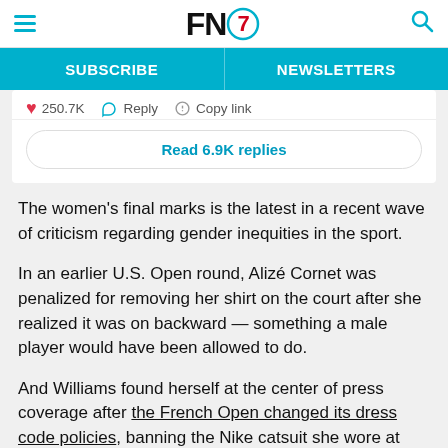FN7 — SUBSCRIBE | NEWSLETTERS
[Figure (screenshot): Social media interaction bar showing heart icon with 250.7K likes, Reply button, Copy link button, and Read 6.9K replies button]
The women's final marks is the latest in a recent wave of criticism regarding gender inequities in the sport.
In an earlier U.S. Open round, Alizé Cornet was penalized for removing her shirt on the court after she realized it was on backward — something a male player would have been allowed to do.
And Williams found herself at the center of press coverage after the French Open changed its dress code policies, banning the Nike catsuit she wore at this year's tournament to increase blood circulation in the wake of post-pregnancy health issues.